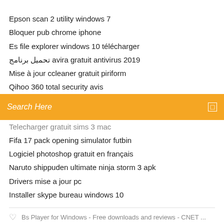Epson scan 2 utility windows 7
Bloquer pub chrome iphone
Es file explorer windows 10 télécharger
تحميل برنامج avira gratuit antivirus 2019
Mise à jour ccleaner gratuit piriform
Qihoo 360 total security avis
[Figure (screenshot): Search bar with orange background and 'Search Here' placeholder text]
Telecharger gratuit sims 3 mac
Fifa 17 pack opening simulator futbin
Logiciel photoshop gratuit en français
Naruto shippuden ultimate ninja storm 3 apk
Drivers mise a jour pc
Installer skype bureau windows 10
Bs Player for Windows - Free downloads and reviews - CNET ...
f  t  ⊕  Bē